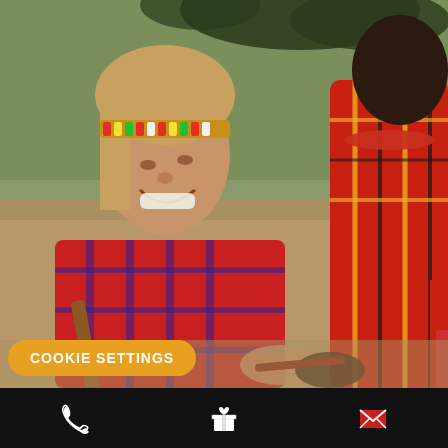[Figure (photo): A smiling Western woman wearing Maasai beaded headband and multi-strand bead necklaces over a red plaid garment, holding a wooden stick, interacting with a Maasai person in traditional red checkered clothing. Outdoor savanna landscape background.]
COOKIE SETTINGS
[Figure (infographic): Black bottom navigation bar with three icons: phone/call icon on left, gift box icon in center, envelope/email icon on right.]